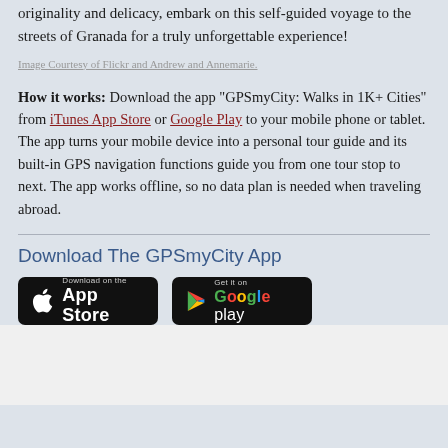originality and delicacy, embark on this self-guided voyage to the streets of Granada for a truly unforgettable experience!
Image Courtesy of Flickr and Andrew and Annemarie.
How it works: Download the app "GPSmyCity: Walks in 1K+ Cities" from iTunes App Store or Google Play to your mobile phone or tablet. The app turns your mobile device into a personal tour guide and its built-in GPS navigation functions guide you from one tour stop to next. The app works offline, so no data plan is needed when traveling abroad.
Download The GPSmyCity App
[Figure (other): App Store download badge (black, Apple icon, 'Download on the App Store')]
[Figure (other): Google Play download badge (black, Play icon, 'Get it on Google play')]